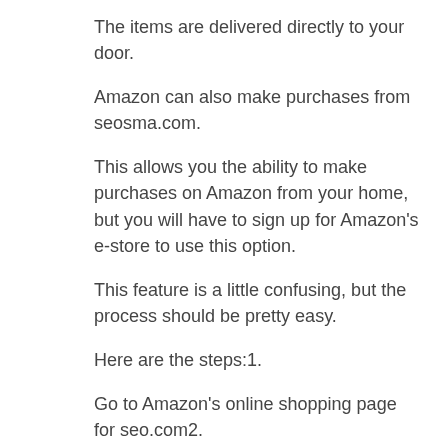The items are delivered directly to your door.
Amazon can also make purchases from seosma.com.
This allows you the ability to make purchases on Amazon from your home, but you will have to sign up for Amazon's e-store to use this option.
This feature is a little confusing, but the process should be pretty easy.
Here are the steps:1.
Go to Amazon's online shopping page for seo.com2.
Choose the option to purchase a product, and then choose to add seo items to your order.
This takes a few seconds.3.
Click on “Sign up for e-Commerce” to enter the